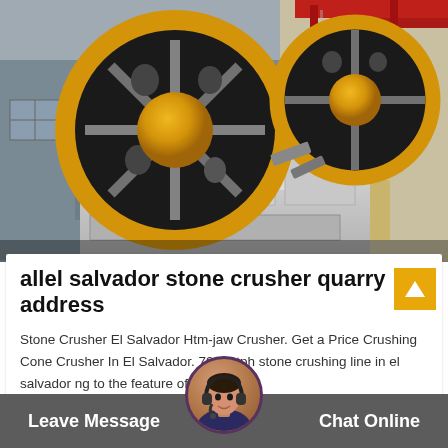[Figure (photo): Industrial jaw crusher machine with two large black and gold/yellow flywheels, white painted heavy metal body, set inside a large industrial workshop or factory building with metal girder framework and red overhead crane beams visible in the background.]
allel salvador stone crusher quarry address
Stone Crusher El Salvador Htm-jaw Crusher. Get a Price Crushing Cone Crusher In El Salvador. 70100tph stone crushing line in el salvador ng to the feature of the... Relase Time: 08-19